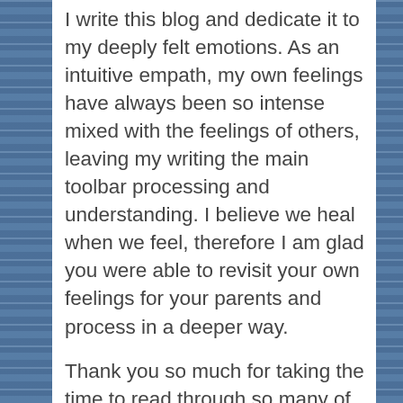I write this blog and dedicate it to my deeply felt emotions. As an intuitive empath, my own feelings have always been so intense mixed with the feelings of others, leaving my writing the main toolbar processing and understanding. I believe we heal when we feel, therefore I am glad you were able to revisit your own feelings for your parents and process in a deeper way.

Thank you so much for taking the time to read through so many of my posts. I write in hopes that I can inspire and comfort others. My journey serves as an example of